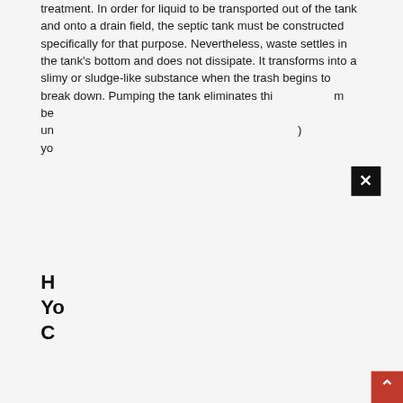treatment. In order for liquid to be transported out of the tank and onto a drain field, the septic tank must be constructed specifically for that purpose. Nevertheless, waste settles in the tank's bottom and does not dissipate. It transforms into a slimy or sludge-like substance when the trash begins to break down. Pumping the tank eliminates this [obscured] m be[obscured] un[obscured] ) yo[obscured]
[Figure (other): Black close button (X) dialog overlay in top-right area of page]
H[obscured]
Yo[obscured]
C[obscured]
[Figure (other): Red back-to-top button with upward arrow in bottom-right corner]